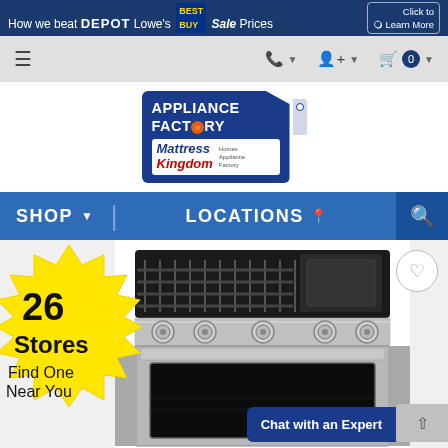How we beat DEPOT Lowe's BEST BUY Sale Prices | Click to Learn More
[Figure (screenshot): Navigation bar with hamburger menu, phone icon, account icon, and cart icon with 0 items]
[Figure (logo): Appliance Factory Mattress Kingdom logo in blue tag shape]
SHOP ▼    LOCATIONS ♦    🔍
[Figure (photo): Starburst yellow badge with text '26 Stores Find One Near You' overlaid on product image of stainless steel gas range with griddle]
26 Stores Find One Near You
Chat with an Expert